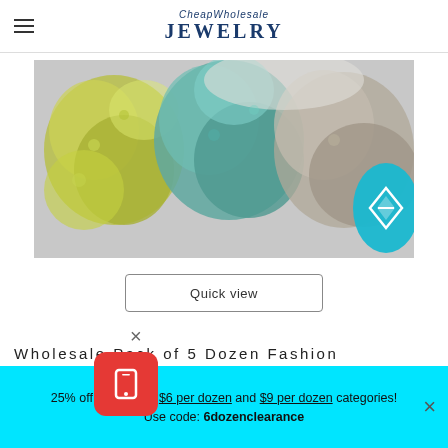CheapWholesale JEWELRY
[Figure (photo): Colorful wholesale fashion earrings displayed in teal, yellow-green, and neutral tones. A teal circular navigation button with a diamond/arrow icon is overlaid on the right side.]
Quick view
×
Wholesale Pack of 5 Dozen Fashion Earrings - 60
25% off all items in $6 per dozen and $9 per dozen categories! Use code: 6dozenclearance